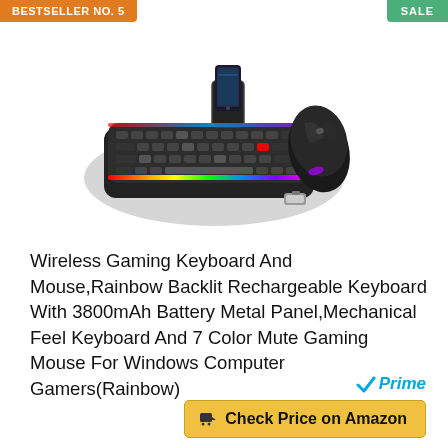BESTSELLER NO. 5
SALE
[Figure (photo): Wireless gaming keyboard and mouse combo with rainbow backlighting, a phone holder, and a USB dongle displayed on white background.]
Wireless Gaming Keyboard And Mouse,Rainbow Backlit Rechargeable Keyboard With 3800mAh Battery Metal Panel,Mechanical Feel Keyboard And 7 Color Mute Gaming Mouse For Windows Computer Gamers(Rainbow)
Prime
Check Price on Amazon